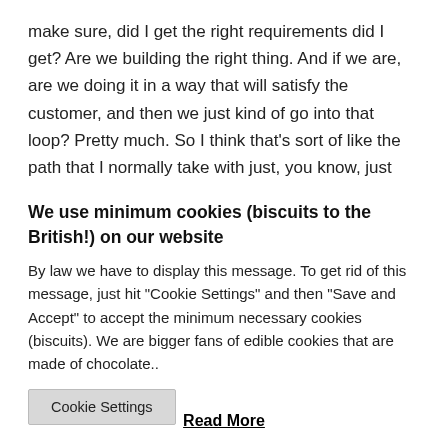make sure, did I get the right requirements did I get? Are we building the right thing. And if we are, are we doing it in a way that will satisfy the customer, and then we just kind of go into that loop? Pretty much. So I think that's sort of like the path that I normally take with just, you know, just really focusing on making sure that I've got the right business requirements. And just kind of
We use minimum cookies (biscuits to the British!) on our website
By law we have to display this message. To get rid of this message, just hit "Cookie Settings" and then "Save and Accept" to accept the minimum necessary cookies (biscuits). We are bigger fans of edible cookies that are made of chocolate..
Cookie Settings
Read More